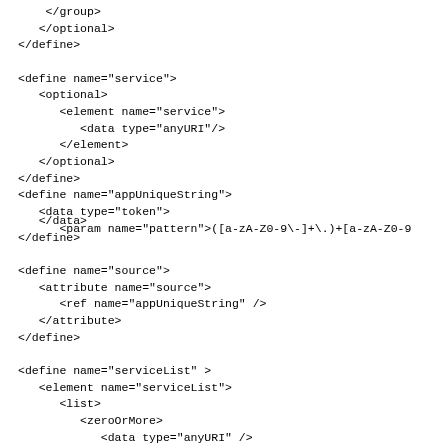</group>
   </optional>
</define>

<define name="service">
   <optional>
      <element name="service">
         <data type="anyURI"/>
      </element>
   </optional>
</define>
<define name="appUniqueString">
   <data type="token">
      <param name="pattern">([a-zA-Z0-9\-]+\.)+[a-zA-Z0-9\-]</param>
   </data>
</define>

<define name="source">
   <attribute name="source">
      <ref name="appUniqueString" />
   </attribute>
</define>

<define name="serviceList" >
   <element name="serviceList">
      <list>
         <zeroOrMore>
            <data type="anyURI" />
         </zeroOrMore>
      </list>
   </element>
   </element>